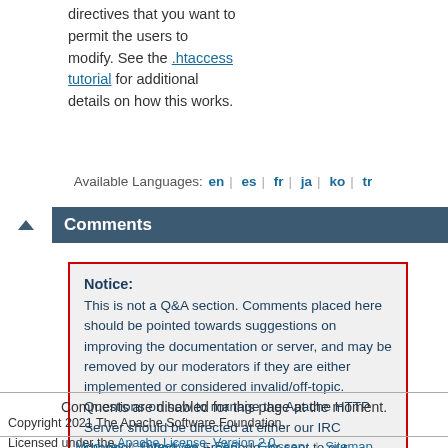directives that you want to permit the users to modify. See the .htaccess tutorial for additional details on how this works.
Available Languages: en | es | fr | ja | ko | tr
Comments
Notice: This is not a Q&A section. Comments placed here should be pointed towards suggestions on improving the documentation or server, and may be removed by our moderators if they are either implemented or considered invalid/off-topic. Questions on how to manage the Apache HTTP Server should be directed at either our IRC channel, #httpd, on Freenode, or sent to our mailing lists.
Comments are disabled for this page at the moment.
Copyright 2021 The Apache Software Foundation. Licensed under the Apache License, Version 2.0.
Modules | Directives | FAQ | Glossary | Sitemap